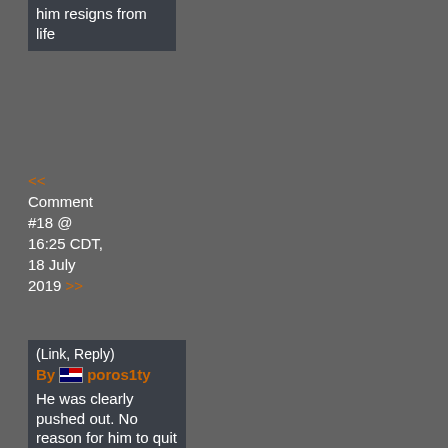him resigns from life
<< Comment #18 @ 16:25 CDT, 18 July 2019 >>
(Link, Reply)
By poros1ty
He was clearly pushed out. No reason for him to quit before Doom Eternal launches. Now all people